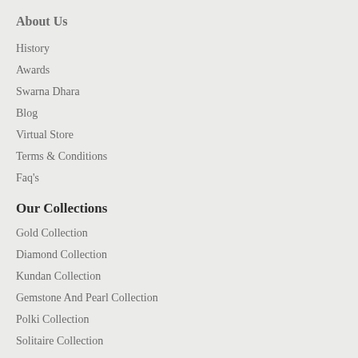About Us
History
Awards
Swarna Dhara
Blog
Virtual Store
Terms & Conditions
Faq's
Our Collections
Gold Collection
Diamond Collection
Kundan Collection
Gemstone And Pearl Collection
Polki Collection
Solitaire Collection
Store Location
Plot No. 1133, Road No. 36